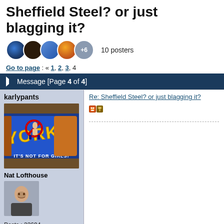Sheffield Steel? or just blagging it?
10 posters
Go to page : < 1, 2, 3, 4
Message [Page 4 of 4]
karlypants
[Figure (photo): Hand holding a Yorkie chocolate bar wrapper that reads YORKIE ITS NOT FOR GIRLS with a no-women symbol]
Nat Lofthouse
[Figure (photo): Profile photo of a man against a dark background]
Posts : 33694
Join date : 2012-08-04
Re: Sheffield Steel? or just blagging it?
[Figure (illustration): Two small pixel-art emoji icons]
gloswhite
Re: Sheffield Steel? or just blagging it?